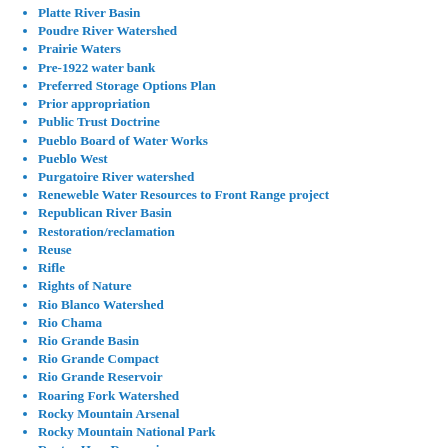Platte River Basin
Poudre River Watershed
Prairie Waters
Pre-1922 water bank
Preferred Storage Options Plan
Prior appropriation
Public Trust Doctrine
Pueblo Board of Water Works
Pueblo West
Purgatoire River watershed
Reneweble Water Resources to Front Range project
Republican River Basin
Restoration/reclamation
Reuse
Rifle
Rights of Nature
Rio Blanco Watershed
Rio Chama
Rio Grande Basin
Rio Grande Compact
Rio Grande Reservoir
Roaring Fork Watershed
Rocky Mountain Arsenal
Rocky Mountain National Park
Rueter-Hess Reservoir